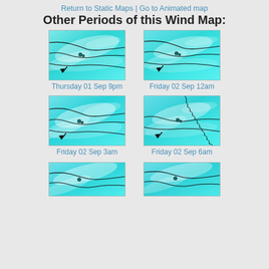Return to Static Maps | Go to Animated map
Other Periods of this Wind Map:
[Figure (map): Wind map thumbnail for Thursday 01 Sep 9pm showing cyan/teal wind patterns over a geographic region with black coastline outlines]
Thursday 01 Sep 9pm
[Figure (map): Wind map thumbnail for Friday 02 Sep 12am showing cyan/teal wind patterns over a geographic region with black coastline outlines]
Friday 02 Sep 12am
[Figure (map): Wind map thumbnail for Friday 02 Sep 3am showing cyan/teal wind patterns over a geographic region with black coastline outlines]
Friday 02 Sep 3am
[Figure (map): Wind map thumbnail for Friday 02 Sep 6am showing cyan/teal wind patterns over a geographic region with black coastline outlines]
Friday 02 Sep 6am
[Figure (map): Wind map thumbnail (partially visible) for a later period]
[Figure (map): Wind map thumbnail (partially visible) for a later period]